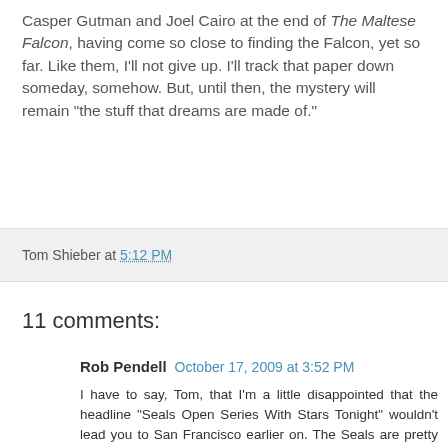Casper Gutman and Joel Cairo at the end of The Maltese Falcon, having come so close to finding the Falcon, yet so far. Like them, I'll not give up. I'll track that paper down someday, somehow. But, until then, the mystery will remain "the stuff that dreams are made of."
Tom Shieber at 5:12 PM
11 comments:
Rob Pendell  October 17, 2009 at 3:52 PM
I have to say, Tom, that I'm a little disappointed that the headline "Seals Open Series With Stars Tonight" wouldn't lead you to San Francisco earlier on. The Seals are pretty clearly the subject of the headline, which would most likely be the case in the local paper.
There's a shot of the other side of Cook's horizontal fold when Spade first sees him across the room. You can't really make out any text, but it's clearly the other half of the